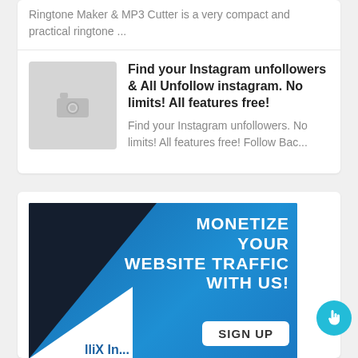Ringtone Maker & MP3 Cutter is a very compact and practical ringtone ...
Find your Instagram unfollowers & All Unfollow instagram. No limits! All features free!
Find your Instagram unfollowers. No limits! All features free! Follow Bac...
[Figure (screenshot): Advertisement banner: blue background with dark triangle, white triangle, text 'MONETIZE YOUR WEBSITE TRAFFIC WITH US!', SIGN UP button, and partial footer logo text]
[Figure (other): Teal circular FAB button with cursor/hand icon]